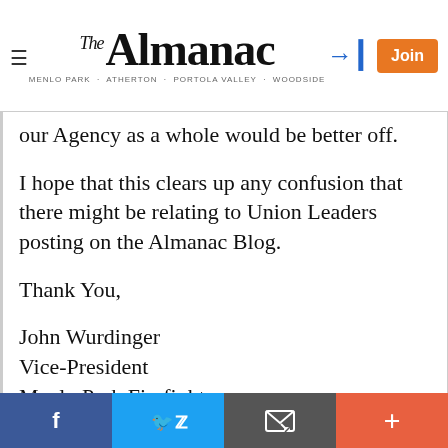The Almanac — Menlo Park · Atherton · Portola Valley · Woodside
our Agency as a whole would be better off.
I hope that this clears up any confusion that there might be relating to Union Leaders posting on the Almanac Blog.
Thank You,
John Wurdinger
Vice-President
Menlo Park Firefighters
10th District Vice President
San Mateo County Firefighters
IAFF Local 2400
Facebook | Twitter | Email | More